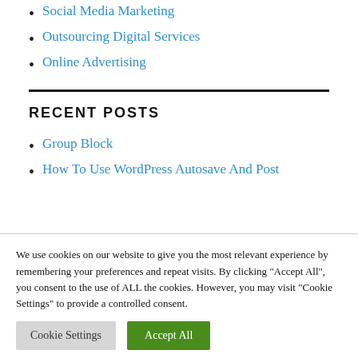Social Media Marketing
Outsourcing Digital Services
Online Advertising
RECENT POSTS
Group Block
How To Use WordPress Autosave And Post
We use cookies on our website to give you the most relevant experience by remembering your preferences and repeat visits. By clicking "Accept All", you consent to the use of ALL the cookies. However, you may visit "Cookie Settings" to provide a controlled consent.
Cookie Settings | Accept All